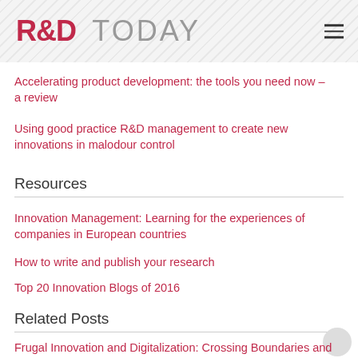R&D TODAY
Accelerating product development: the tools you need now – a review
Using good practice R&D management to create new innovations in malodour control
Resources
Innovation Management: Learning for the experiences of companies in European countries
How to write and publish your research
Top 20 Innovation Blogs of 2016
Related Posts
Frugal Innovation and Digitalization: Crossing Boundaries and